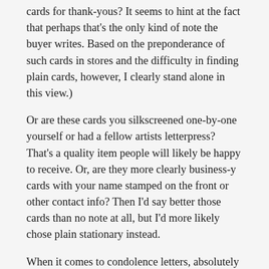cards for thank-yous? It seems to hint at the fact that perhaps that's the only kind of note the buyer writes. Based on the preponderance of such cards in stores and the difficulty in finding plain cards, however, I clearly stand alone in this view.)
Or are these cards you silkscreened one-by-one yourself or had a fellow artists letterpress? That's a quality item people will likely be happy to receive. Or, are they more clearly business-y cards with your name stamped on the front or other contact info? Then I'd say better those cards than no note at all, but I'd more likely chose plain stationary instead.
When it comes to condolence letters, absolutely go with plain paper or a card that acknowledges the solemnity of the situation. Again, better one of your art-laden cards with a kind message written inside than nothing, but sensible adults keep a box of plain stationary in the